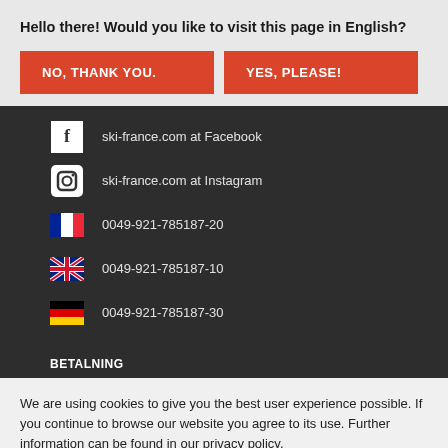Hello there! Would you like to visit this page in English?
NO, THANK YOU.
YES, PLEASE!
ski-france.com at Facebook
ski-france.com at Instagram
0049-921-785187-20
0049-921-785187-10
0049-921-785187-30
BETALNING
We are using cookies to give you the best user experience possible. If you continue to browse our website you agree to its use. Further information can be found in our privacy policy.
ACCEPTERA COOKIES